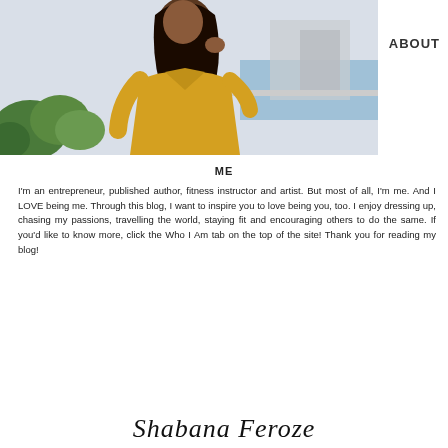[Figure (photo): Woman in yellow dress standing outdoors near water and greenery]
ABOUT
ME
I'm an entrepreneur, published author, fitness instructor and artist. But most of all, I'm me. And I LOVE being me. Through this blog, I want to inspire you to love being you, too. I enjoy dressing up, chasing my passions, travelling the world, staying fit and encouraging others to do the same. If you'd like to know more, click the Who I Am tab on the top of the site! Thank you for reading my blog!
Shabana Feroze